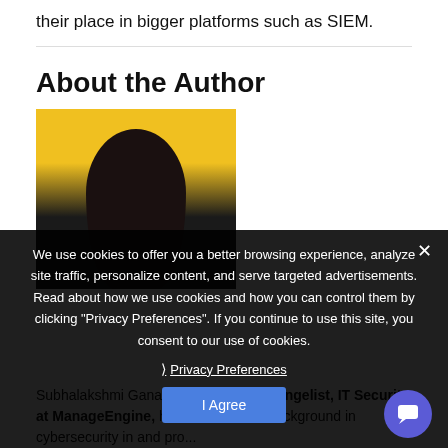their place in bigger platforms such as SIEM.
About the Author
[Figure (photo): Author headshot photo with yellow background, dark silhouette of a person with dark hair]
Subhalakshmi Ganapathy, Product Evangelist, IT Security at ManageEngine, has an extensive background in cybersecurity in and pro...
We use cookies to offer you a better browsing experience, analyze site traffic, personalize content, and serve targeted advertisements. Read about how we use cookies and how you can control them by clicking "Privacy Preferences". If you continue to use this site, you consent to our use of cookies.
Privacy Preferences
I Agree